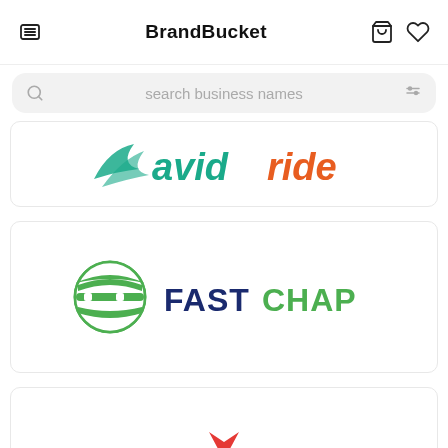BrandBucket
search business names
[Figure (logo): avidride logo — teal chevron/bird icon with 'avid' in teal and 'ride' in orange, bold italic lettering]
[Figure (logo): FastChap logo — green circular layered stripes icon on left, 'FAST' in dark navy bold and 'CHAP' in green bold]
[Figure (logo): Partially visible logo at bottom of page, only top portion visible showing a red element]